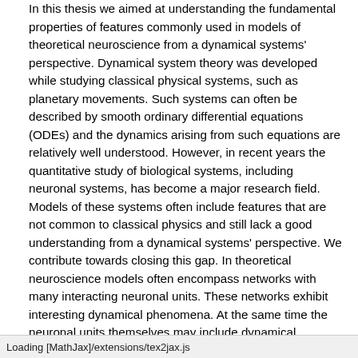In this thesis we aimed at understanding the fundamental properties of features commonly used in models of theoretical neuroscience from a dynamical systems' perspective. Dynamical system theory was developed while studying classical physical systems, such as planetary movements. Such systems can often be described by smooth ordinary differential equations (ODEs) and the dynamics arising from such equations are relatively well understood. However, in recent years the quantitative study of biological systems, including neuronal systems, has become a major research field. Models of these systems often include features that are not common to classical physics and still lack a good understanding from a dynamical systems' perspective. We contribute towards closing this gap. In theoretical neuroscience models often encompass networks with many interacting neuronal units. These networks exhibit interesting dynamical phenomena. At the same time the neuronal units themselves may include dynamical features, such as pulse-coupling or adaptation, which may be able to produce rich dynamics already in very simple network architectures. If so it may be possible to consider extremely simple systems including these neural features and observe complex dynamics often associated with complex network models. In this thesis we considered three very simple systems including adaptation and pulse-coupling and
Loading [MathJax]/extensions/tex2jax.js